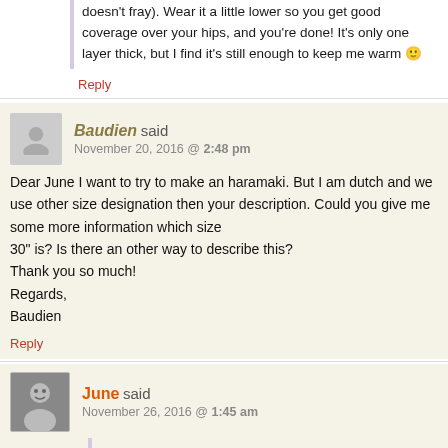doesn't fray). Wear it a little lower so you get good coverage over your hips, and you're done! It's only one layer thick, but I find it's still enough to keep me warm 🙂
Reply
Baudien said
November 20, 2016 @ 2:48 pm
Dear June I want to try to make an haramaki. But I am dutch and we use other size designation then your description. Could you give me some more information which size
30" is? Is there an other way to describe this?
Thank you so much!
Regards,
Baudien
Reply
June said
November 26, 2016 @ 1:45 am